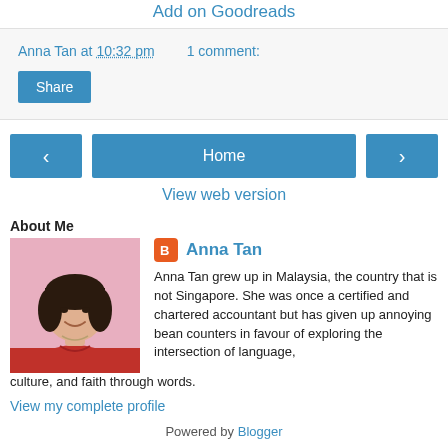Add on Goodreads
Anna Tan at 10:32 pm   1 comment:
Share
< Home >
View web version
About Me
[Figure (photo): Profile photo of Anna Tan, a woman in a red top against a pink background]
Anna Tan
Anna Tan grew up in Malaysia, the country that is not Singapore. She was once a certified and chartered accountant but has given up annoying bean counters in favour of exploring the intersection of language, culture, and faith through words.
View my complete profile
Powered by Blogger